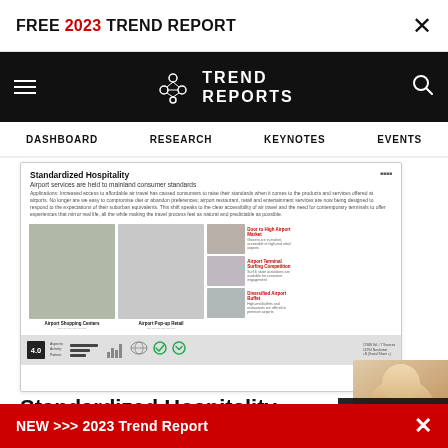FREE 2023 TREND REPORT
[Figure (logo): Trend Reports logo with molecule/bubble icon and text TREND REPORTS on black navigation bar]
DASHBOARD | RESEARCH | KEYNOTES | EVENTS
[Figure (screenshot): Screenshot of a Trend Reports article page showing 'Standardized Hospitality - Airport services are held to mainland consumer standards' with text, images of airport stores, food market, surfing competition, and buffet, plus a score card footer]
Standardized Hospitality
NEW >>> 2023 Trend Report